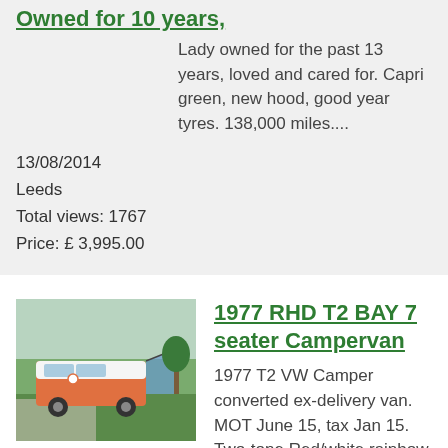Owned for 10 years,
Lady owned for the past 13 years, loved and cared for. Capri green, new hood, good year tyres. 138,000 miles....
13/08/2014
Leeds
Total views: 1767
Price: £ 3,995.00
[Figure (photo): VW campervan with orange/white two-tone paint and awning attachment]
1977 RHD T2 BAY 7 seater Campervan
1977 T2 VW Camper converted ex-delivery van. MOT June 15, tax Jan 15. Two-tone Red/white rainbow and side flame inset...
19/07/2014